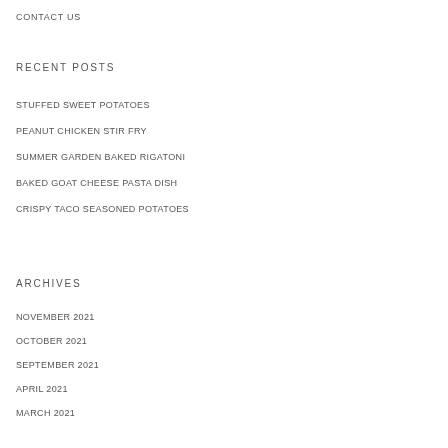CONTACT US
RECENT POSTS
STUFFED SWEET POTATOES
PEANUT CHICKEN STIR FRY
SUMMER GARDEN BAKED RIGATONI
BAKED GOAT CHEESE PASTA DISH
CRISPY TACO SEASONED POTATOES
ARCHIVES
NOVEMBER 2021
OCTOBER 2021
SEPTEMBER 2021
APRIL 2021
MARCH 2021